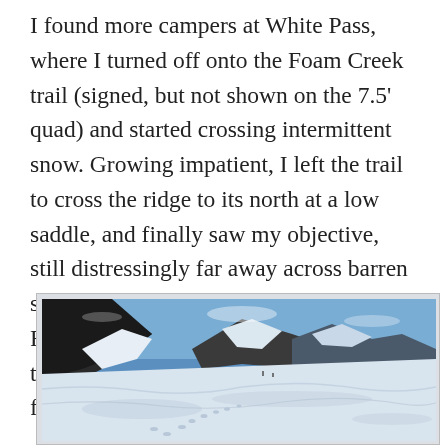I found more campers at White Pass, where I turned off onto the Foam Creek trail (signed, but not shown on the 7.5' quad) and started crossing intermittent snow. Growing impatient, I left the trail to cross the ridge to its north at a low saddle, and finally saw my objective, still distressingly far away across barren snow-flats and the White Chuck glacier. Following the ridge farther east seemed tricky, so I dropped down onto the snow for a long march.
[Figure (photo): Photograph of a snow-covered glacier or snowfield with rocky mountain terrain in the background under a blue sky. Footprints are visible in the snow in the foreground.]